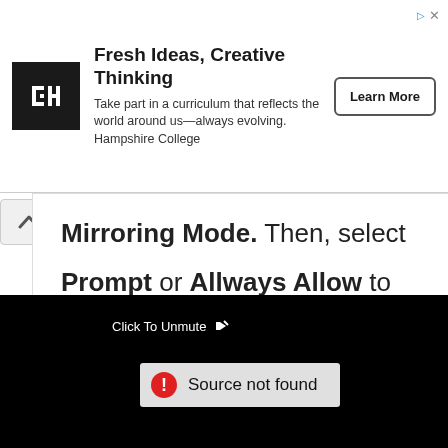[Figure (screenshot): Advertisement banner for Hampshire College: logo (black square with HI text), headline 'Fresh Ideas, Creative Thinking', body text 'Take part in a curriculum that reflects the world around us—always evolving. Hampshire College', and a 'Learn More' button. Small ad icon and close X in top-right corner.]
Mirroring Mode. Then, select Prompt or Allways Allow to enable
[Figure (screenshot): Black video player area with 'Click To Unmute' label with mute icon in upper left, and a light gray error bar showing a red exclamation circle icon and the text 'Source not found'.]